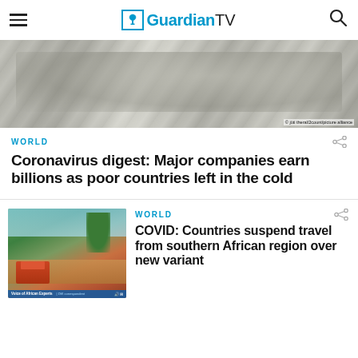GuardianTV
[Figure (photo): Close-up photo of US dollar banknotes, greyscale tones, with photo credit: © jüti theral/2count/picture alliance]
WORLD
Coronavirus digest: Major companies earn billions as poor countries left in the cold
[Figure (screenshot): Thumbnail screenshot of a news video showing a street scene with a red emergency vehicle and trees. Bottom bar reads 'Voice of African Experts' with DW logo.]
WORLD
COVID: Countries suspend travel from southern African region over new variant